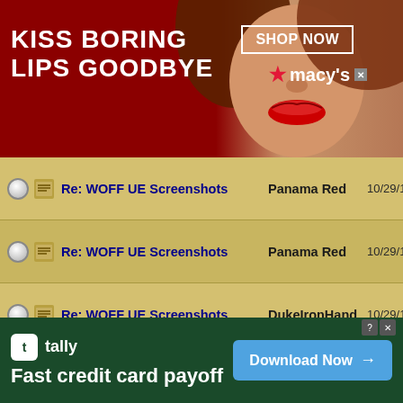[Figure (screenshot): Top advertisement banner: red background, 'KISS BORING LIPS GOODBYE' text on left, woman's face in center, 'SHOP NOW' button and Macy's logo on right]
|  |  | Thread | Author | Date |
| --- | --- | --- | --- | --- |
|  |  | Re: WOFF UE Screenshots | Panama Red | 10/29/16 02:27 AM |
|  |  | Re: WOFF UE Screenshots | Panama Red | 10/29/16 01:46 PM |
|  |  | Re: WOFF UE Screenshots | DukeIronHand | 10/29/16 01:55 PM |
|  |  | Re: WOFF UE Screenshots | Shredward | 10/29/16 04:47 PM |
|  |  | Re: WOFF UE Screenshots | DukeIronHand | 10/29/16 04:57 PM |
|  |  | Re: WOFF UE Screenshots | DukeIronHand | 10/29/16 05:57 PM |
|  |  | Re: WOFF UE Screenshots | Wolfstriked | 10/29/16 07:58 PM |
|  |  | Re: WOFF UE Screenshots | Banjoman | 10/29/16 08:36 PM |
|  |  | Re: WOFF UE Screenshots | Trooper117 | 10/29/16 08:37 PM |
|  |  | Re: WOFF UE Screenshots | Wolfstriked | 10/29/16 09:01 PM |
[Figure (screenshot): Bottom advertisement banner: dark green background, Tally app logo, 'Fast credit card payoff' text, 'Download Now' button]